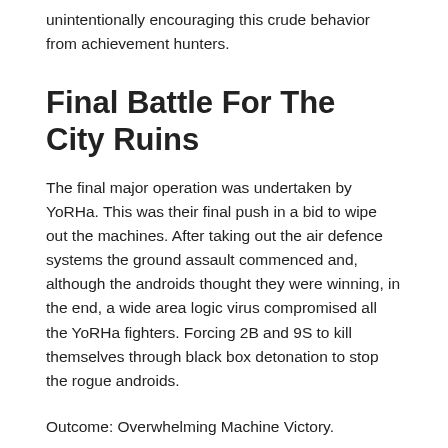unintentionally encouraging this crude behavior from achievement hunters.
Final Battle For The City Ruins
The final major operation was undertaken by YoRHa. This was their final push in a bid to wipe out the machines. After taking out the air defence systems the ground assault commenced and, although the androids thought they were winning, in the end, a wide area logic virus compromised all the YoRHa fighters. Forcing 2B and 9S to kill themselves through black box detonation to stop the rogue androids.
Outcome: Overwhelming Machine Victory.